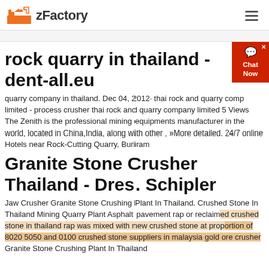zFactory
rock quarry in thailand - dent-all.eu
quarry company in thailand. Dec 04, 2012· thai rock and quarry company limited - process crusher thai rock and quarry company limited 5 Views The Zenith is the professional mining equipments manufacturer in the world, located in China,India, along with other , »More detailed. 24/7 online Hotels near Rock-Cutting Quarry, Buriram
Granite Stone Crusher Thailand - Dres. Schipler
Jaw Crusher Granite Stone Crushing Plant In Thailand. Crushed Stone In Thailand Mining Quarry Plant Asphalt pavement rap or reclaimed crushed stone in thailand rap was mixed with new crushed stone at proportion of 8020 5050 and 0100 crushed stone suppliers in malaysia gold ore crusher Granite Stone Crushing Plant In Thailand